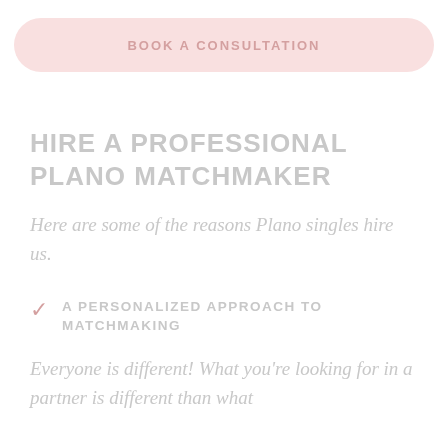[Figure (other): Pink rounded rectangle button with text 'BOOK A CONSULTATION']
HIRE A PROFESSIONAL PLANO MATCHMAKER
Here are some of the reasons Plano singles hire us.
A PERSONALIZED APPROACH TO MATCHMAKING
Everyone is different! What you're looking for in a partner is different than what...